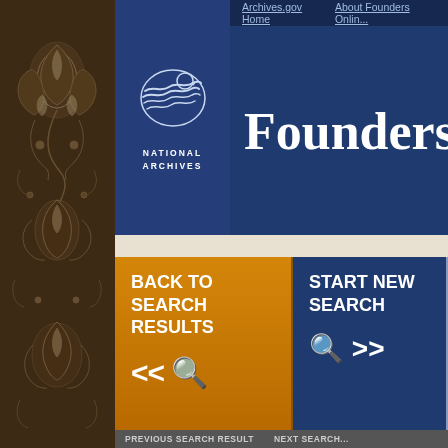[Figure (screenshot): Founders Online website screenshot from National Archives (archives.gov) showing navigation header with National Archives eagle logo, navy blue header with 'Founders Online' title, orange 'BACK TO SEARCH RESULTS' button and navy 'START NEW SEARCH' button with search icons, previous/next search result navigation bar, search query info showing 'Livingston, Edward; L. More...' Author='Rodney, Caesar A.' AND Recipient='Jeffer...' sorted by relevance, permanent link URL, and partial document title 'CAESAR A. RODNEY TO JEFFERSON, 18 OCTO...' in orange small-caps serif font.]